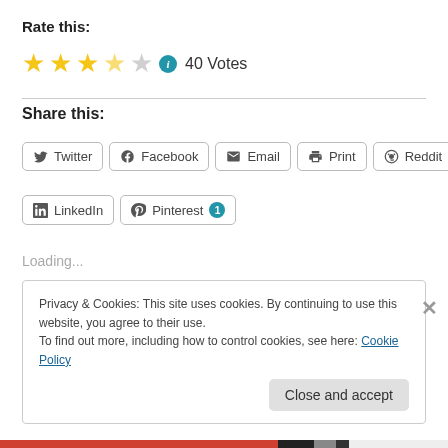Rate this:
★★★½☆ ℹ 40 Votes
Share this:
Twitter
Facebook
Email
Print
Reddit
LinkedIn
Pinterest 1
Loading...
Privacy & Cookies: This site uses cookies. By continuing to use this website, you agree to their use.
To find out more, including how to control cookies, see here: Cookie Policy
Close and accept